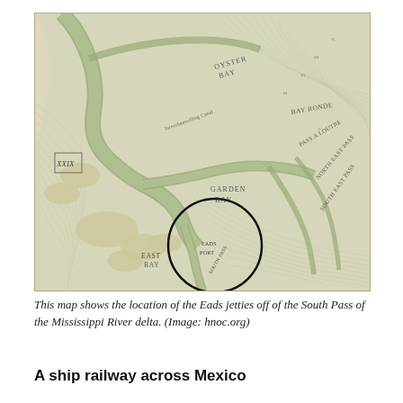[Figure (map): Historical map showing the Mississippi River delta, with the location of the Eads jetties off of the South Pass. The map depicts the river channels, bays (including Garden Bay, East Bay, Oyster Bay), passes (North East Pass, South East Pass, Pass A Loutre), and surrounding geography. A black circle highlights the location of the Eads Port and South Pass jetties area. The map has a yellowed/sepia tone typical of 19th century cartography.]
This map shows the location of the Eads jetties off of the South Pass of the Mississippi River delta. (Image: hnoc.org)
A ship railway across Mexico